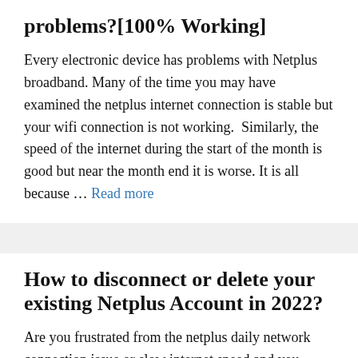problems?[100% Working]
Every electronic device has problems with Netplus broadband. Many of the time you may have examined the netplus internet connection is stable but your wifi connection is not working.  Similarly, the speed of the internet during the start of the month is good but near the month end it is worse. It is all because … Read more
How to disconnect or delete your existing Netplus Account in 2022?
Are you frustrated from the netplus daily network connection issue or slow internet speed and you decided to disconnect the netplus account. Then in